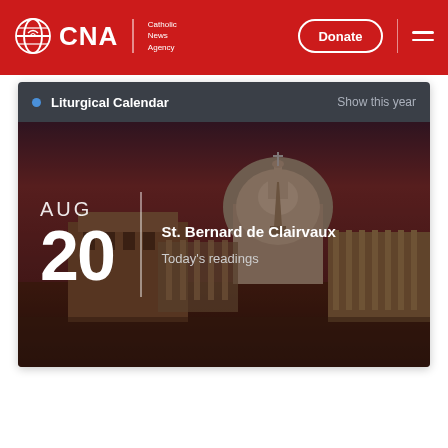[Figure (logo): CNA Catholic News Agency logo with globe icon, white text on red background]
Donate
[Figure (screenshot): Liturgical Calendar card showing AUG 20, St. Bernard de Clairvaux, Today's readings, with Vatican / St. Peter's Square background image]
Liturgical Calendar
Show this year
AUG
20
St. Bernard de Clairvaux
Today's readings